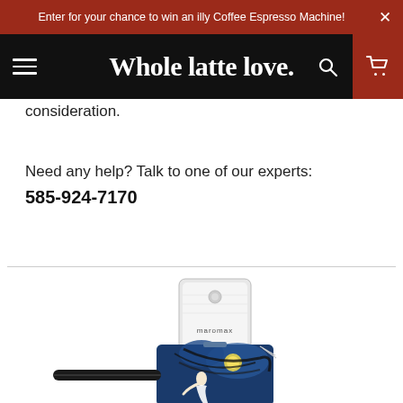Enter for your chance to win an illy Coffee Espresso Machine!
Whole latte love.
consideration.
Need any help? Talk to one of our experts:
585-924-7170
[Figure (photo): Product photo: a bag of Maroma coffee sitting in a decorative artistic pouch/case with a painting of a woman and blue swirling sky, with a black handle/strap.]